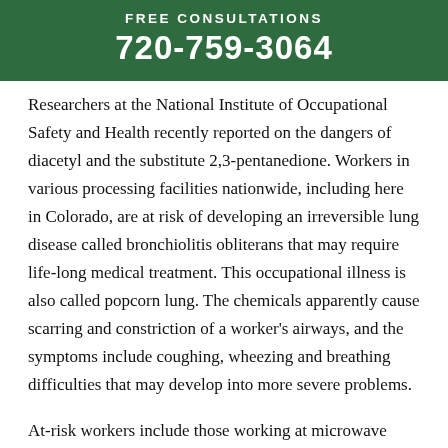Free Consultations
720-759-3064
Researchers at the National Institute of Occupational Safety and Health recently reported on the dangers of diacetyl and the substitute 2,3-pentanedione. Workers in various processing facilities nationwide, including here in Colorado, are at risk of developing an irreversible lung disease called bronchiolitis obliterans that may require life-long medical treatment. This occupational illness is also called popcorn lung. The chemicals apparently cause scarring and constriction of a worker's airways, and the symptoms include coughing, wheezing and breathing difficulties that may develop into more severe problems.
At-risk workers include those working at microwave